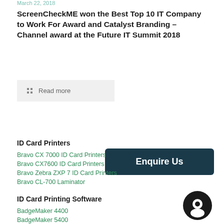March 22, 2018
ScreenCheckME won the Best Top 10 IT Company to Work For Award and Catalyst Branding – Channel award at the Future IT Summit 2018
Read more
ID Card Printers
Bravo CX 7000 ID Card Printers
Bravo CX7600 ID Card Printers
Bravo Zebra ZXP 7 ID Card Printers
Bravo CL-700 Laminator
Enquire Us
ID Card Printing Software
BadgeMaker 4400
BadgeMaker 5400
[Figure (illustration): Chat/support circular icon in black]